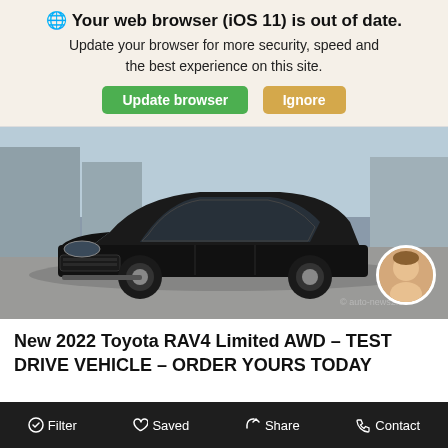🌐 Your web browser (iOS 11) is out of date. Update your browser for more security, speed and the best experience on this site.
Update browser | Ignore
[Figure (photo): Black Toyota RAV4 Limited AWD SUV parked in a lot, front three-quarter view. Small circular avatar of a man in the bottom-right corner.]
New 2022 Toyota RAV4 Limited AWD – TEST DRIVE VEHICLE – ORDER YOURS TODAY
Filter | Saved | Share | Contact